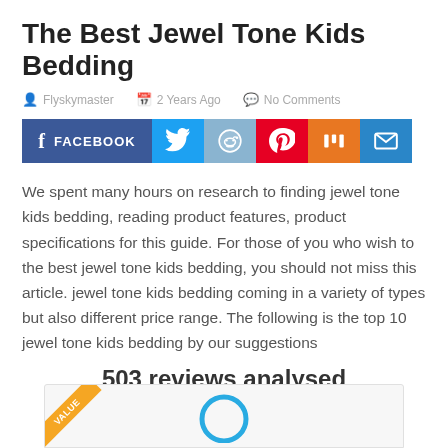The Best Jewel Tone Kids Bedding
Flyskymaster   2 Years Ago   No Comments
[Figure (infographic): Social share buttons: Facebook, Twitter, Reddit, Pinterest, Mix, Email]
We spent many hours on research to finding jewel tone kids bedding, reading product features, product specifications for this guide. For those of you who wish to the best jewel tone kids bedding, you should not miss this article. jewel tone kids bedding coming in a variety of types but also different price range. The following is the top 10 jewel tone kids bedding by our suggestions
503 reviews analysed
[Figure (other): Bottom panel with VALUE ribbon badge and circular icon partially visible]